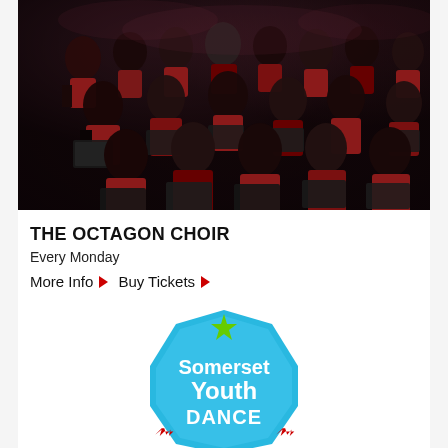[Figure (photo): Group photo of The Octagon Choir singers in red and black outfits performing on a dark stage, holding sheet music folders.]
THE OCTAGON CHOIR
Every Monday
More Info ▶  Buy Tickets ▶
[Figure (logo): Somerset Youth DANCE logo — a blue octagonal badge shape with a green star at top, red star decorations at bottom, and text reading Somerset Youth DANCE in white.]